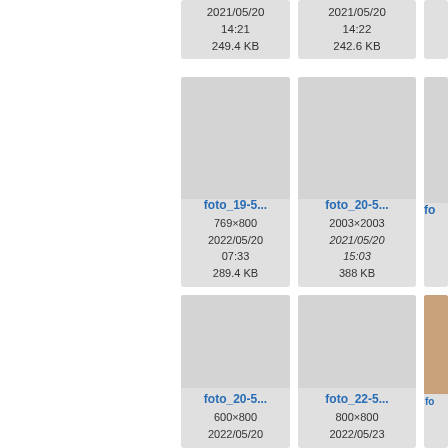[Figure (screenshot): File browser / image gallery grid showing photo thumbnails with filenames, dimensions, dates, and file sizes. Partial top row shows metadata: 2021/05/20 14:21 249.4 KB and 2021/05/20 14:22 242.6 KB. Middle row: foto_19-5... (769×800, 2022/05/20 07:33, 289.4 KB), foto_20-5... (2003×2003, 2021/05/20 15:03, 388 KB), partial third. Bottom row: foto_20-5... (600×800, 2022/05/20), foto_22-5... (800×800, 2022/05/23), partial third with photo visible.]